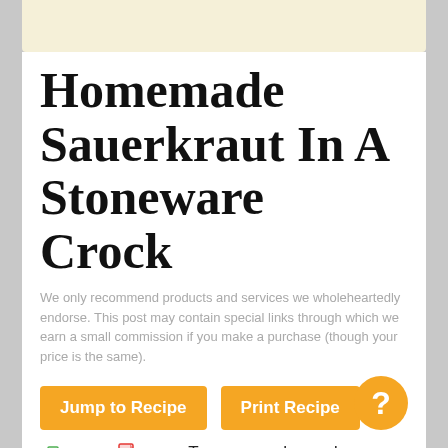Homemade Sauerkraut In A Stoneware Crock
We only recommend products and services we wholeheartedly endorse. This post may contain special links through which we earn a small commission if you make a purchase (though your price is the same).
Jump to Recipe | Print Recipe
Print  PDF   Tangy, crunchy, and probiotic, this homemade sauerkraut recipe is the perfect gut-friendly condiment! Otherwise the same as my no-pound recipe, this